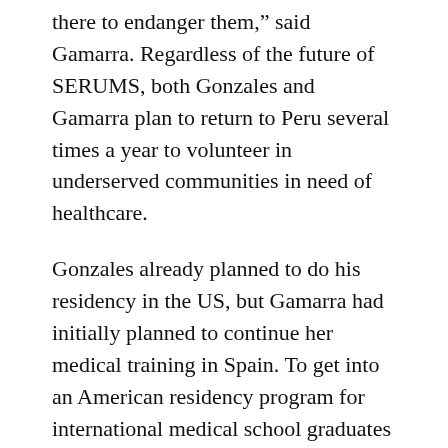there to endanger them," said Gamarra. Regardless of the future of SERUMS, both Gonzales and Gamarra plan to return to Peru several times a year to volunteer in underserved communities in need of healthcare.
Gonzales already planned to do his residency in the US, but Gamarra had initially planned to continue her medical training in Spain. To get into an American residency program for international medical school graduates is a “grueling process” according to Gamarra. Gonzales agreed with Gamarra that on a global scale, the United States is viewed as one of the best countries to study medicine, but it is very difficult for international medical school graduates to get accepted. Gamarra and Gonzales explained that there are three exams that they must pass to study in the US, but Gamarra would have only needed to pass